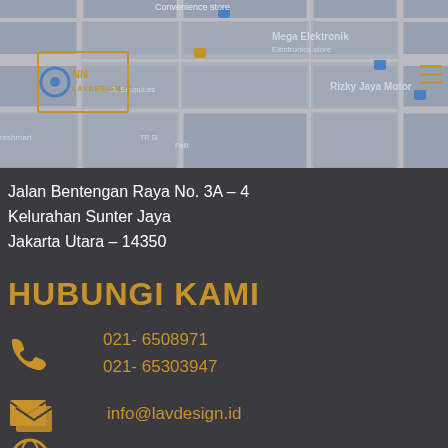[Figure (map): Google Maps screenshot showing street map with location pins. Visible labels: Convenience store, Mega Elektronik (Electronics store), Rizky Jaya Motor, Jl. Sespul.es, NN LAV DESIGN ID logo/watermark top-left, TR Si Palit label, freshmart label.]
Jalan Bentengan Raya No. 3A – 4
Kelurahan Sunter Jaya
Jakarta Utara – 14350
HUBUNGI KAMI
021- 6508971
021- 65303947
info@lavdesign.id